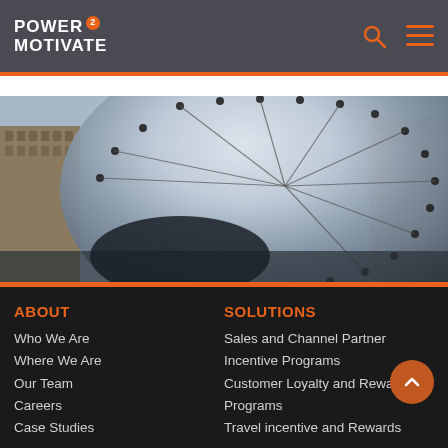POWER 2 MOTIVATE
[Figure (photo): Close-up photo of a large reflective metallic/glass circular sculpture or architectural installation with bolts and cables, urban buildings visible in background]
ABOUT
Who We Are
Where We Are
Our Team
Careers
Case Studies
SOLUTIONS
Sales and Channel Partner Incentive Programs
Customer Loyalty and Rewards Programs
Travel incentive and Rewards